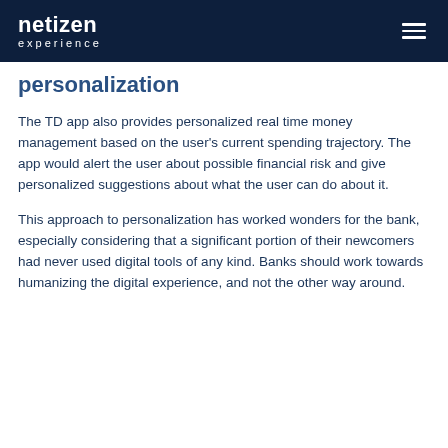netizen experience
personalization
The TD app also provides personalized real time money management based on the user's current spending trajectory. The app would alert the user about possible financial risk and give personalized suggestions about what the user can do about it.
This approach to personalization has worked wonders for the bank, especially considering that a significant portion of their newcomers had never used digital tools of any kind. Banks should work towards humanizing the digital experience, and not the other way around.